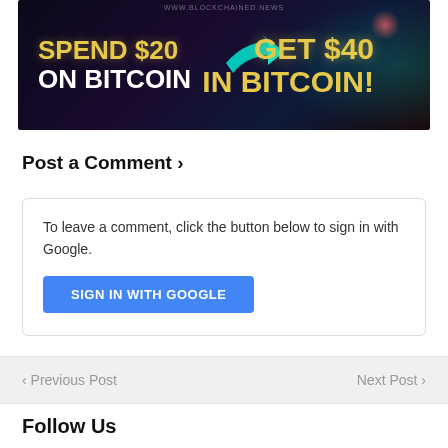[Figure (infographic): Banner advertisement: 'SPEND $20 ON BITCOIN → GET $40 IN BITCOIN!' with dark space-themed background, yellow and white text, cyan arrow, website www.blockchained.news]
Post a Comment ›
To leave a comment, click the button below to sign in with Google.
SIGN IN WITH GOOGLE
‹ Previous Post
Next Post ›
Follow Us
facebook
twitter